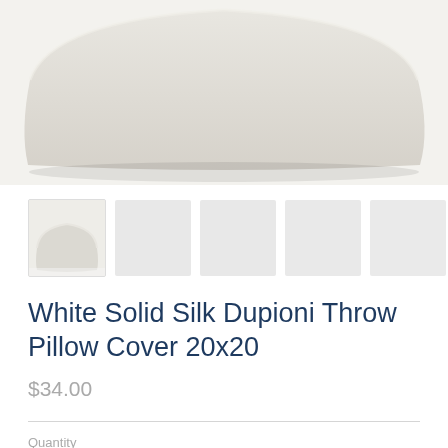[Figure (photo): Close-up photo of a white/cream silk dupioni throw pillow against a light background, showing fabric texture. Only bottom half of pillow visible.]
[Figure (photo): Row of product thumbnail images. First thumbnail shows the pillow; remaining five are light gray placeholder squares.]
White Solid Silk Dupioni Throw Pillow Cover 20x20
$34.00
Quantity